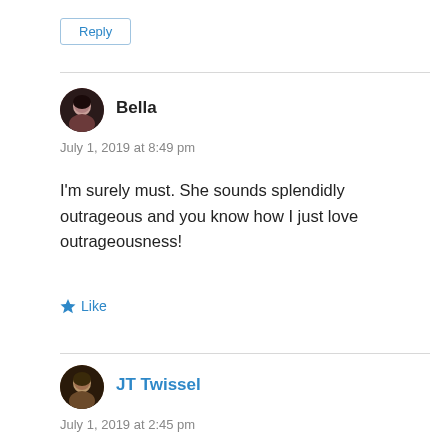Reply
Bella
July 1, 2019 at 8:49 pm
I'm surely must. She sounds splendidly outrageous and you know how I just love outrageousness!
Like
JT Twissel
July 1, 2019 at 2:45 pm